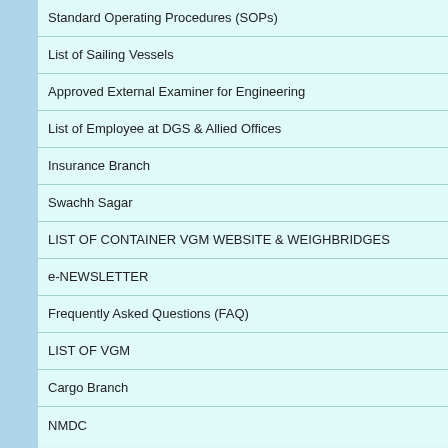Standard Operating Procedures (SOPs)
List of Sailing Vessels
Approved External Examiner for Engineering
List of Employee at DGS & Allied Offices
Insurance Branch
Swachh Sagar
LIST OF CONTAINER VGM WEBSITE & WEIGHBRIDGES
e-NEWSLETTER
Frequently Asked Questions (FAQ)
LIST OF VGM
Cargo Branch
NMDC